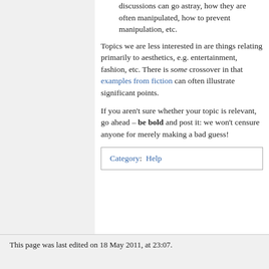successfully resolve issues, how discussions can go astray, how they are often manipulated, how to prevent manipulation, etc.
Topics we are less interested in are things relating primarily to aesthetics, e.g. entertainment, fashion, etc. There is some crossover in that examples from fiction can often illustrate significant points.
If you aren't sure whether your topic is relevant, go ahead – be bold and post it: we won't censure anyone for merely making a bad guess!
Category:  Help
This page was last edited on 18 May 2011, at 23:07.